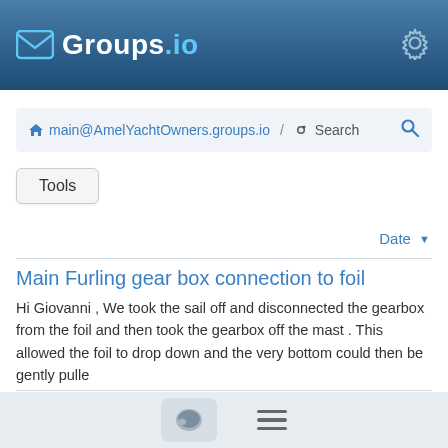Groups.io
main@AmelYachtOwners.groups.io / Search
Tools
Date ▼
Main Furling gear box connection to foil
Hi Giovanni , We took the sail off and disconnected the gearbox from the foil and then took the gearbox off the mast . This allowed the foil to drop down and the very bottom could then be gently pulle
By ianjenkins1946 <ianjudyjenkins@hotmail.com> · #54146 · 9/04/20